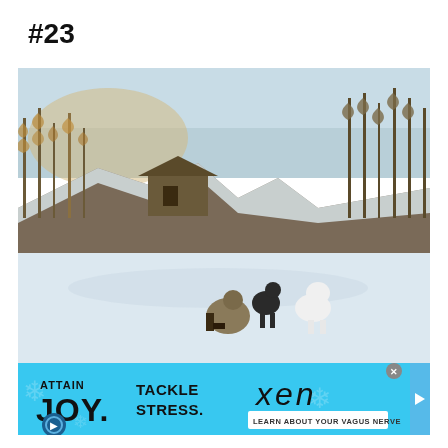#23
[Figure (photo): Outdoor winter scene with snow-covered ground, bare and pine trees on rocky cliffs, a wooden structure/cabin in the background, and in the foreground a person crouching on the snow with two dogs (one dark/black and one white) near what appears to be a frozen river or lake.]
[Figure (screenshot): Advertisement banner with light blue background. Left side: 'ATTAIN JOY.' in bold black text with a circular dark blue icon. Center: 'TACKLE STRESS.' in bold black text. Right side: 'xen' in large italic thin font, and a white button reading 'LEARN ABOUT YOUR VAGUS NERVE'. Top right has a close (x) button and a play button on the far right edge.]